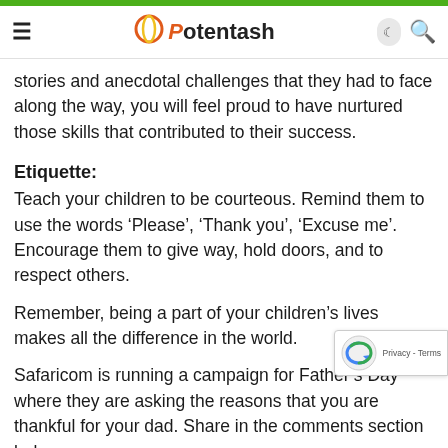Potentash
stories and anecdotal challenges that they had to face along the way, you will feel proud to have nurtured those skills that contributed to their success.
Etiquette:
Teach your children to be courteous. Remind them to use the words ‘Please’, ‘Thank you’, ‘Excuse me’. Encourage them to give way, hold doors, and to respect others.
Remember, being a part of your children’s lives makes all the difference in the world.
Safaricom is running a campaign for Father’s Day where they are asking the reasons that you are thankful for your dad. Share in the comments section below why you are thankful for your dad & the 5 most creative will